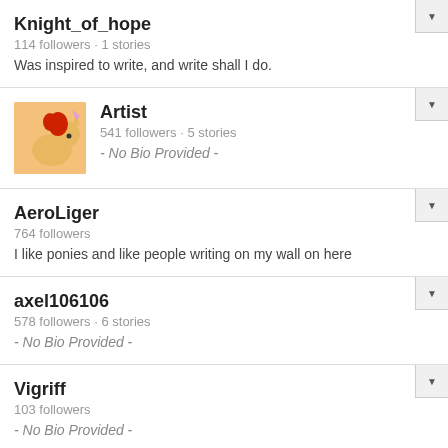Knight_of_hope
114 followers · 1 stories
Was inspired to write, and write shall I do.
[Figure (photo): Avatar image of a cartoon pony with red mane on yellow background]
Artist
541 followers · 5 stories
- No Bio Provided -
AeroLiger
764 followers
I like ponies and like people writing on my wall on here
axel106106
578 followers · 6 stories
- No Bio Provided -
Vigriff
103 followers
- No Bio Provided -